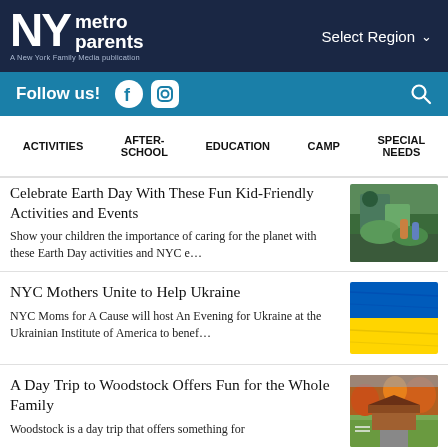NY metro parents — A New York Family Media publication
Follow us! | Select Region
ACTIVITIES | AFTER-SCHOOL | EDUCATION | CAMP | SPECIAL NEEDS
Celebrate Earth Day With These Fun Kid-Friendly Activities and Events
Show your children the importance of caring for the planet with these Earth Day activities and NYC e…
NYC Mothers Unite to Help Ukraine
NYC Moms for A Cause will host An Evening for Ukraine at the Ukrainian Institute of America to benef…
A Day Trip to Woodstock Offers Fun for the Whole Family
Woodstock is a day trip that offers something for